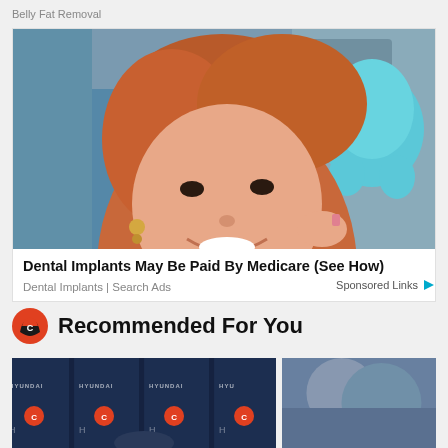Belly Fat Removal
[Figure (photo): Woman smiling and holding a blue tooth-shaped object in a dental office setting]
Dental Implants May Be Paid By Medicare (See How)
Dental Implants | Search Ads
Sponsored Links
Recommended For You
[Figure (photo): Chicago Bears press conference with Hyundai sponsor banners in the background]
[Figure (photo): Partially visible image, appears to show people]